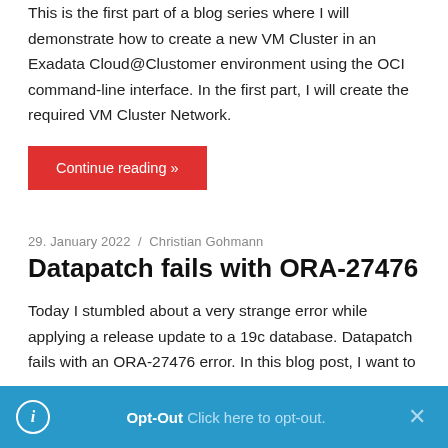This is the first part of a blog series where I will demonstrate how to create a new VM Cluster in an Exadata Cloud@Clustomer environment using the OCI command-line interface. In the first part, I will create the required VM Cluster Network.
Continue reading »
29. January 2022 / Christian Gohmann
Datapatch fails with ORA-27476
Today I stumbled about a very strange error while applying a release update to a 19c database. Datapatch fails with an ORA-27476 error. In this blog post, I want to
Opt-Out Click here to opt-out.